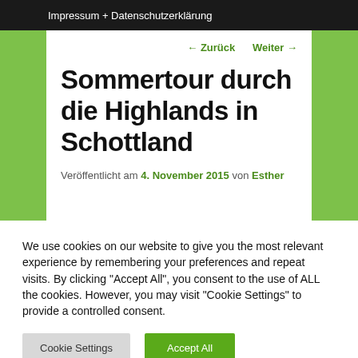Impressum + Datenschutzerklärung
← Zurück   Weiter →
Sommertour durch die Highlands in Schottland
Veröffentlicht am 4. November 2015 von Esther
We use cookies on our website to give you the most relevant experience by remembering your preferences and repeat visits. By clicking "Accept All", you consent to the use of ALL the cookies. However, you may visit "Cookie Settings" to provide a controlled consent.
Cookie Settings   Accept All